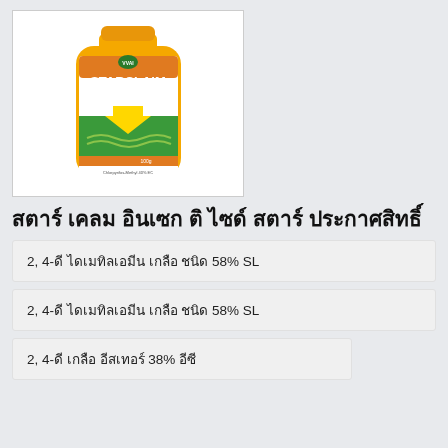[Figure (photo): Yellow bottle of Starclaim Insecticide with green and orange label design]
สตาร์ เคลม อินเซก ติ ไซด์ สตาร์ ประกาศสิทธิ์
2, 4-ดี ไดเมทิลเอมีน เกลือ ชนิด 58% SL
2, 4-ดี ไดเมทิลเอมีน เกลือ ชนิด 58% SL
2, 4-ดี เกลือ อีสเทอร์ 38% อีซี